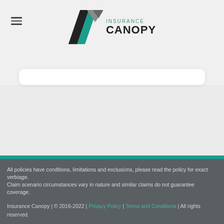[Figure (logo): Insurance Canopy logo with diagonal black and teal slash marks and company name]
All policies have conditions, limitations and exclusions, please read the policy for exact verbiage.
Claim scenario circumstances vary in nature and similar claims do not guarantee coverage.

Insurance Canopy | © 2016-2022 | Privacy Policy | Terms and Conditions | All rights reserved.